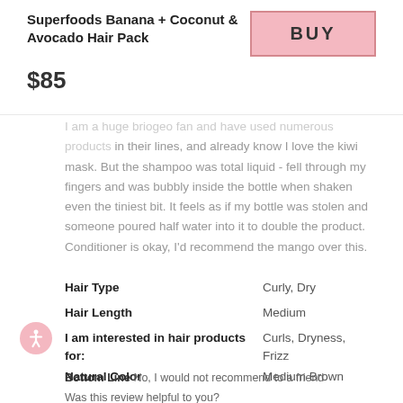Superfoods Banana + Coconut & Avocado Hair Pack
$85
I am a huge briogeo fan and have used numerous products in their lines, and already know I love the kiwi mask. But the shampoo was total liquid - fell through my fingers and was bubbly inside the bottle when shaken even the tiniest bit. It feels as if my bottle was stolen and someone poured half water into it to double the product. Conditioner is okay, I'd recommend the mango over this.
| Attribute | Value |
| --- | --- |
| Hair Type | Curly, Dry |
| Hair Length | Medium |
| I am interested in hair products for: | Curls, Dryness, Frizz |
| Natural Color | Medium Brown |
Bottom Line No, I would not recommend to a friend
Was this review helpful to you?